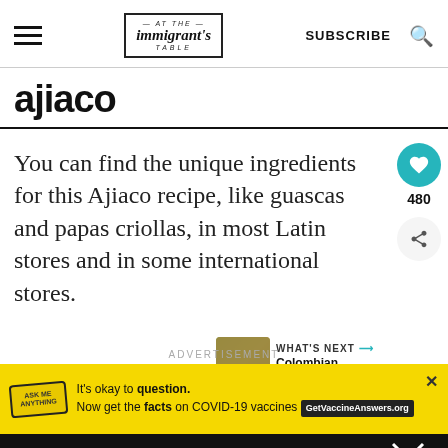at the immigrant's table — SUBSCRIBE [search]
ajiaco
You can find the unique ingredients for this Ajiaco recipe, like guascas and papas criollas, in most Latin stores and in some international stores.
480
WHAT'S NEXT → Colombian ceviche with...
ADVERTISEMENT
It's okay to question. Now get the facts on COVID-19 vaccines GetVaccineAnswers.org